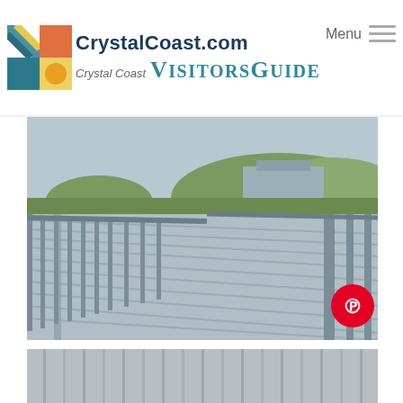CrystalCoast.com Crystal Coast VisitorsGuide Menu
[Figure (photo): Wooden boardwalk with railings over sand dunes at Crystal Coast, NC. A building and green hills visible in background. Pinterest badge in lower right corner.]
[Figure (photo): Weathered gray wooden building with restroom signs. Sign reads RESTROOMS with arrows, and doors labeled WOMEN and MEN.]